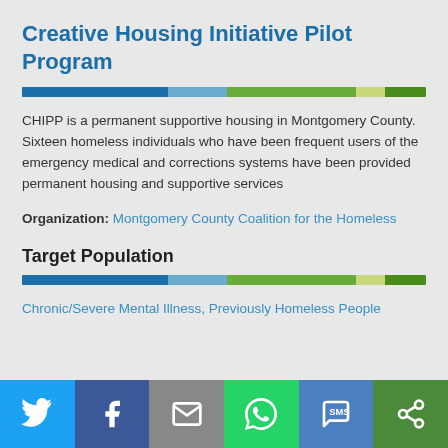Creative Housing Initiative Pilot Program
CHIPP is a permanent supportive housing in Montgomery County. Sixteen homeless individuals who have been frequent users of the emergency medical and corrections systems have been provided permanent housing and supportive services
Organization: Montgomery County Coalition for the Homeless
Target Population
Chronic/Severe Mental Illness, Previously Homeless People
Social sharing bar: Twitter, Facebook, Email, WhatsApp, SMS, Share